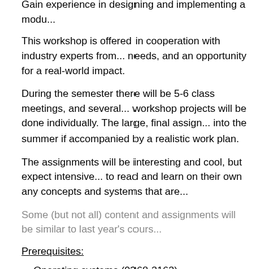Gain experience in designing and implementing a modu...
This workshop is offered in cooperation with industry experts from... needs, and an opportunity for a real-world impact.
During the semester there will be 5-6 class meetings, and several... workshop projects will be done individually. The large, final assign... into the summer if accompanied by a realistic work plan.
The assignments will be interesting and cool, but expect intensive... to read and learn on their own any concepts and systems that are...
Some (but not all) content and assignments will be similar to last year's cours...
Prerequisites:
Operating systems (0368-2162)
Software Project (0368-2161)
(Exception possibe for students with equivalent prior background.
Recommended but not mandatory:
Communication Networks (0368-3030)